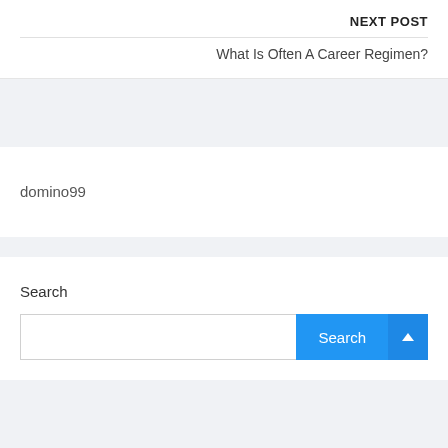NEXT POST
What Is Often A Career Regimen?
domino99
Search